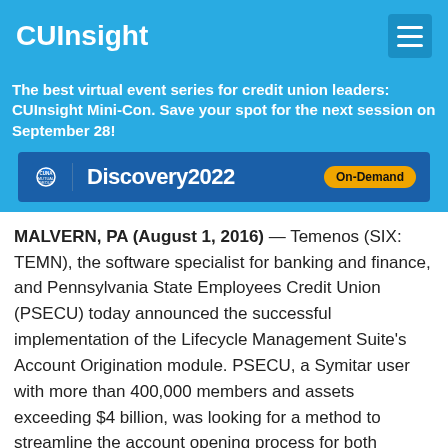CUInsight
The best virtual event series for credit union leaders: CUInsight Mini-Con. Save your spot for the next session on September 28!
[Figure (infographic): CUNA Mutual Group Discovery2022 On-Demand advertisement banner]
MALVERN, PA (August 1, 2016) — Temenos (SIX: TEMN), the software specialist for banking and finance, and Pennsylvania State Employees Credit Union (PSECU) today announced the successful implementation of the Lifecycle Management Suite's Account Origination module. PSECU, a Symitar user with more than 400,000 members and assets exceeding $4 billion, was looking for a method to streamline the account opening process for both deposit and loan-based accounts when they agreed to partner with Temenos and move forward with the Account Origination module. Within four hours of